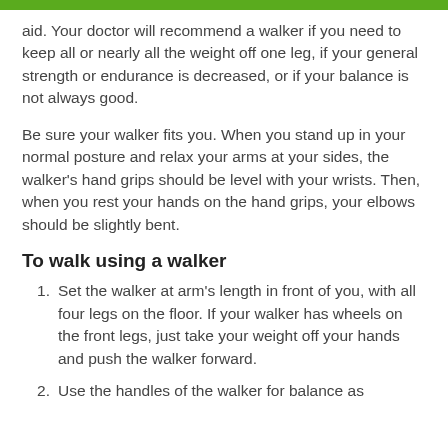aid. Your doctor will recommend a walker if you need to keep all or nearly all the weight off one leg, if your general strength or endurance is decreased, or if your balance is not always good.
Be sure your walker fits you. When you stand up in your normal posture and relax your arms at your sides, the walker's hand grips should be level with your wrists. Then, when you rest your hands on the hand grips, your elbows should be slightly bent.
To walk using a walker
Set the walker at arm's length in front of you, with all four legs on the floor. If your walker has wheels on the front legs, just take your weight off your hands and push the walker forward.
Use the handles of the walker for balance as